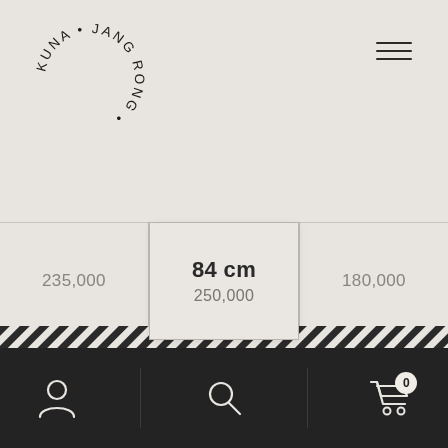[Figure (logo): Kuna Jang Rong circular text logo in black on beige background]
[Figure (other): Hamburger menu icon (three horizontal lines)]
| Col1 | Col2 (active) | Col3 |
| --- | --- | --- |
| 235,000 | 84 cm
250,000 | 180,000 |
[Figure (infographic): Diagonal black and white stripe pattern bar separating content from bottom navigation]
Bottom navigation bar with user icon, search icon, and cart icon (badge: 0)